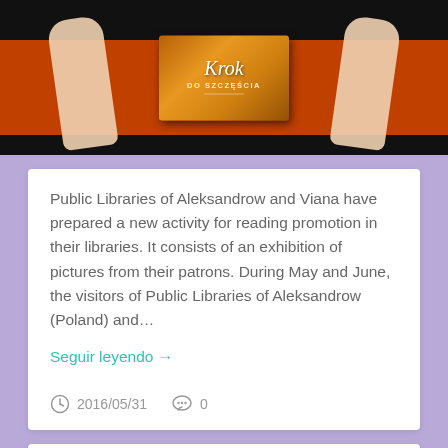[Figure (photo): Person in orange clothing holding a book titled 'Krok do Szczęścia' against a dark background]
Public Libraries of Aleksandrow and Viana have prepared a new activity for reading promotion in their libraries. It consists of an exhibition of pictures from their patrons. During May and June, the visitors of Public Libraries of Aleksandrow (Poland) and…
Seguir leyendo →
2016/05/31  0